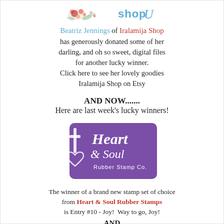[Figure (illustration): Floral decorative illustration on left and 'shopU' stylized logo text on right in the page header]
Beatriz Jennings of Iralamija Shop has generously donated some of her darling, and oh so sweet, digital files for another lucky winner. Click here to see her lovely goodies Iralamija Shop on Etsy
AND NOW....... Here are last week's lucky winners!
[Figure (logo): Heart & Soul Rubber Stamp Co. logo — white script text on a purple/violet paint-brush rectangle background with a cross and heart outline symbol on the left]
The winner of a brand new stamp set of choice from Heart & Soul Rubber Stamps is Entry #10 - Joy!  Way to go, Joy! AND